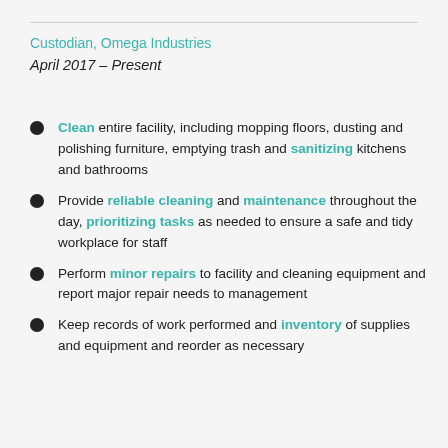Custodian, Omega Industries
April 2017 – Present
Clean entire facility, including mopping floors, dusting and polishing furniture, emptying trash and sanitizing kitchens and bathrooms
Provide reliable cleaning and maintenance throughout the day, prioritizing tasks as needed to ensure a safe and tidy workplace for staff
Perform minor repairs to facility and cleaning equipment and report major repair needs to management
Keep records of work performed and inventory of supplies and equipment and reorder as necessary